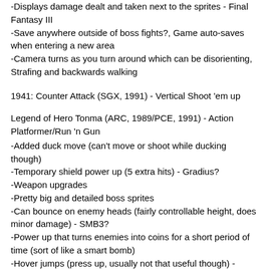-Displays damage dealt and taken next to the sprites - Final Fantasy III
-Save anywhere outside of boss fights?, Game auto-saves when entering a new area
-Camera turns as you turn around which can be disorienting, Strafing and backwards walking
1941: Counter Attack (SGX, 1991) - Vertical Shoot 'em up
Legend of Hero Tonma (ARC, 1989/PCE, 1991) - Action Platformer/Run 'n Gun
-Added duck move (can't move or shoot while ducking though)
-Temporary shield power up (5 extra hits) - Gradius?
-Weapon upgrades
-Pretty big and detailed boss sprites
-Can bounce on enemy heads (fairly controllable height, does minor damage) - SMB3?
-Power up that turns enemies into coins for a short period of time (sort of like a smart bomb)
-Hover jumps (press up, usually not that useful though) - Below the Root (1984)
-Borrows some stuff from Wonder Boy in Monster Land (how coins fall